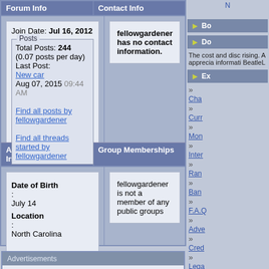Forum Info
Contact Info
Join Date: Jul 16, 2012
Posts
Total Posts: 244 (0.07 posts per day)
Last Post: New car Aug 07, 2015 09:44 AM
Find all posts by fellowgardener
Find all threads started by fellowgardener
fellowgardener has no contact information.
Additional Information
Group Memberships
Date of Birth: July 14
Location: North Carolina
fellowgardener is not a member of any public groups
Advertisements